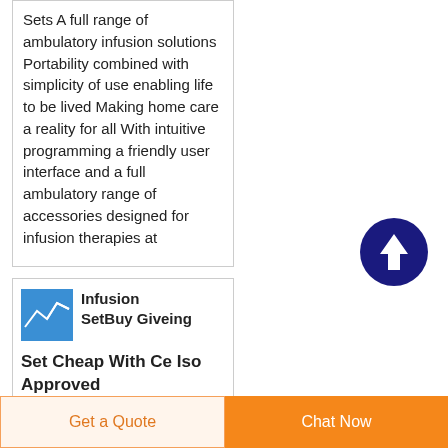Sets A full range of ambulatory infusion solutions Portability combined with simplicity of use enabling life to be lived Making home care a reality for all With intuitive programming a friendly user interface and a full ambulatory range of accessories designed for infusion therapies at
[Figure (illustration): Dark blue circle with white upward arrow scroll-to-top button]
[Figure (photo): Small product thumbnail image with blue/white chart graphic]
Infusion SetBuy Giveing Set Cheap With Ce Iso Approved
Infusion Set Find Complete